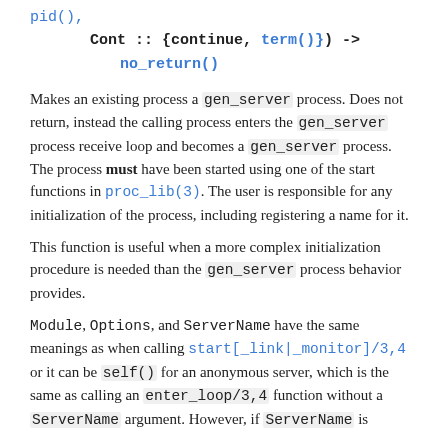pid(),
    Cont :: {continue, term()}) ->
        no_return()
Makes an existing process a gen_server process. Does not return, instead the calling process enters the gen_server process receive loop and becomes a gen_server process. The process must have been started using one of the start functions in proc_lib(3). The user is responsible for any initialization of the process, including registering a name for it.
This function is useful when a more complex initialization procedure is needed than the gen_server process behavior provides.
Module, Options, and ServerName have the same meanings as when calling start[_link|_monitor]/3,4 or it can be self() for an anonymous server, which is the same as calling an enter_loop/3,4 function without a ServerName argument. However, if ServerName is